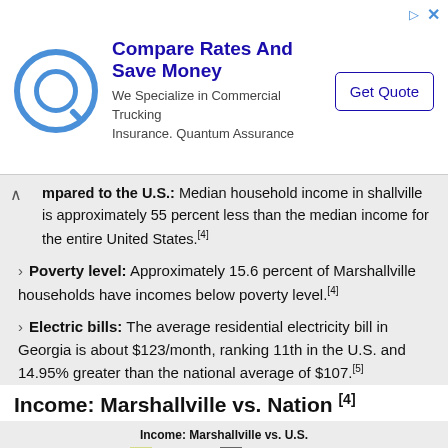[Figure (other): Advertisement banner: Compare Rates And Save Money - We Specialize in Commercial Trucking Insurance. Quantum Assurance. Get Quote button.]
...mpared to the U.S.: Median household income in Marshallville is approximately 55 percent less than the median income for the entire United States.[4]
Poverty level: Approximately 15.6 percent of Marshallville households have incomes below poverty level.[4]
Electric bills: The average residential electricity bill in Georgia is about $123/month, ranking 11th in the U.S. and 14.95% greater than the national average of $107.[5]
Income: Marshallville vs. Nation [4]
[Figure (grouped-bar-chart): Horizontal grouped bar chart showing income distribution for Marshallville vs U.S. Categories visible: Less than 25, 25 to 50. Series: Marshallville (yellow-green), U.S. (gray).]